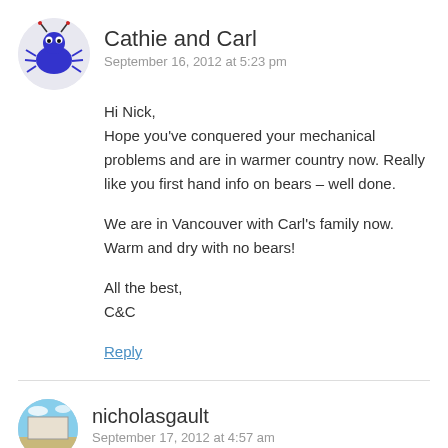Cathie and Carl
September 16, 2012 at 5:23 pm
Hi Nick,
Hope you've conquered your mechanical problems and are in warmer country now. Really like you first hand info on bears – well done.

We are in Vancouver with Carl's family now. Warm and dry with no bears!

All the best,
C&C
Reply
nicholasgault
September 17, 2012 at 4:57 am